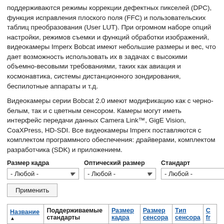поддерживаются режимы коррекции дефектных пикселей (DPC), функция исправления плоского поля (FFC) и пользовательских таблиц преобразования (User LUT). При огромном наборе опций настройки, режимов съемки и функций обработки изображений, видеокамеры Imperx Bobcat имеют небольшие размеры и вес, что дает возможность использовать их в задачах с высокими объемно-весовыми требованиями, таких как авиация и космонавтика, системы дистанционного зондирования, беспилотные аппараты и т.д.
Видеокамеры серии Bobcat 2.0 имеют модификацию как с черно-белым, так и с цветным сенсором. Камеры могут иметь интерфейс передачи данных Camera Link™, GigE Vision, CoaXPress, HD-SDI. Все видеокамеры Imperx поставляются с комплектом программного обеспечения: драйверами, комплектом разработчика (SDK) и приложением.
Размер кадра | Оптический размер | Стандарт — filter dropdowns: - Любой -
Применить
| Название ▲ | Поддерживаемые стандарты | Размер кадра | Размер сенсора | Тип сенсора | С fr |
| --- | --- | --- | --- | --- | --- |
| B0610 | Camera Link, GigE Vision, CoaXPress | 640x480 | 1/3" | ПЗС | 1 |